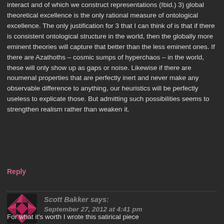interact and of which we construct representations (Ibid.) 3) global theoretical excellence is the only rational measure of ontological excellence. The only justification for 3 that I can think of is that if there is consistent ontological structure in the world, then the globally more eminent theories will capture that better than the less eminent ones. If there are Azathoths – cosmic sumps of hyperchaos – in the world, these will only show up as gaps or noise. Likewise if there are noumenal properties that are perfectly inert and never make any observable difference to anything, our heuristics will be perfectly useless to explicate those. But admitting such possibilities seems to strengthen realism rather than weaken it.
Reply
Scott Bakker says:
September 27, 2012 at 4:41 pm
For what it's worth I wrote this satirical piece